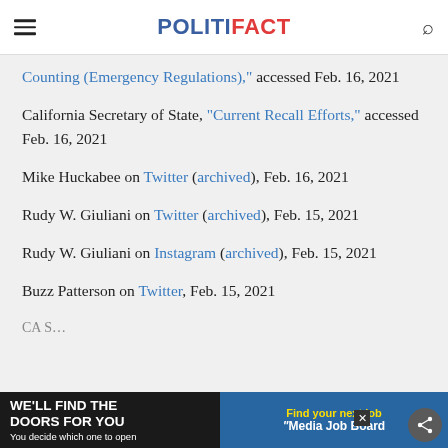POLITIFACT
Counting (Emergency Regulations)," accessed Feb. 16, 2021
California Secretary of State, "Current Recall Efforts," accessed Feb. 16, 2021
Mike Huckabee on Twitter (archived), Feb. 16, 2021
Rudy W. Giuliani on Twitter (archived), Feb. 15, 2021
Rudy W. Giuliani on Instagram (archived), Feb. 15, 2021
Buzz Patterson on Twitter, Feb. 15, 2021
CA S...